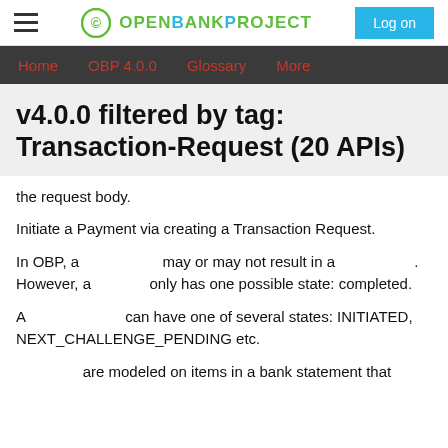OPENBANKPROJECT — Log on
Home   OBP 4.0.0   Glossary   More
v4.0.0 filtered by tag: Transaction-Request (20 APIs)
the request body.
Initiate a Payment via creating a Transaction Request.
In OBP, a [Transaction Request] may or may not result in a [Transaction]. However, a [Transaction] only has one possible state: completed.
A [Transaction Request] can have one of several states: INITIATED, NEXT_CHALLENGE_PENDING etc.
[Transactions] are modeled on items in a bank statement that